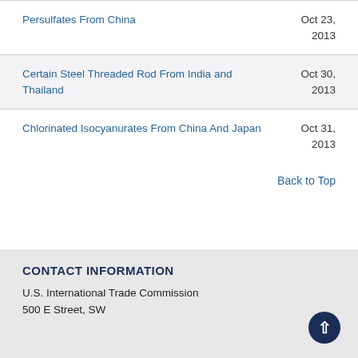Persulfates From China
Oct 23, 2013
Certain Steel Threaded Rod From India and Thailand
Oct 30, 2013
Chlorinated Isocyanurates From China And Japan
Oct 31, 2013
Back to Top
CONTACT INFORMATION
U.S. International Trade Commission
500 E Street, SW